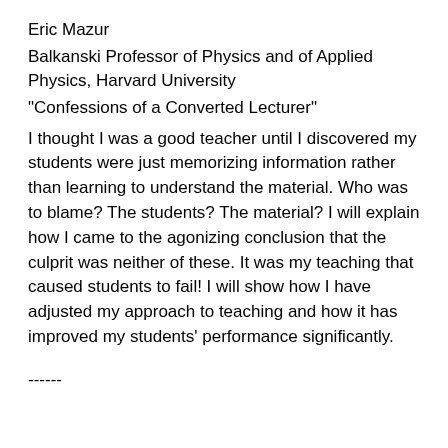Eric Mazur
Balkanski Professor of Physics and of Applied Physics, Harvard University
"Confessions of a Converted Lecturer"
I thought I was a good teacher until I discovered my students were just memorizing information rather than learning to understand the material. Who was to blame? The students? The material? I will explain how I came to the agonizing conclusion that the culprit was neither of these. It was my teaching that caused students to fail! I will show how I have adjusted my approach to teaching and how it has improved my students' performance significantly.
------